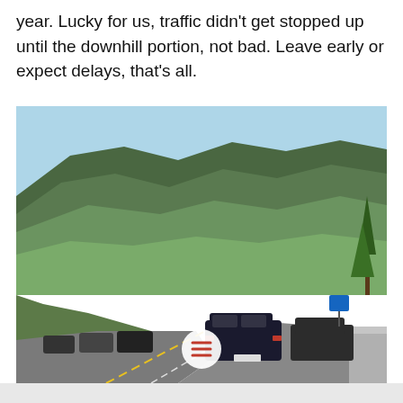year. Lucky for us, traffic didn't get stopped up until the downhill portion, not bad. Leave early or expect delays, that's all.
[Figure (photo): A photograph of highway traffic stopped on a curving road through green hilly terrain. Multiple cars are lined up on the road, with wooded hills and a blue sky in the background. A blue road sign is visible on the right side. A circular hamburger menu icon is overlaid in the center of the image.]